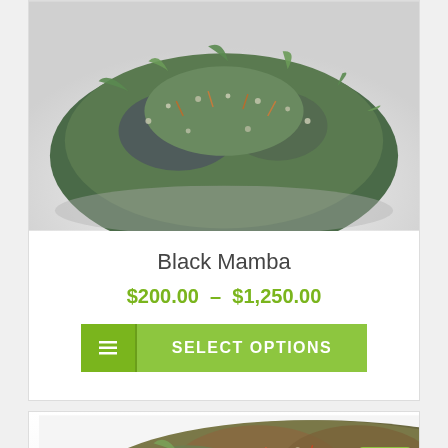[Figure (photo): Close-up photo of a dark green/purple cannabis bud (Black Mamba strain) on a white background]
Black Mamba
$200.00 – $1,250.00
SELECT OPTIONS
[Figure (photo): Close-up photo of a cannabis bud with orange/brown trichomes on a white background, partially visible]